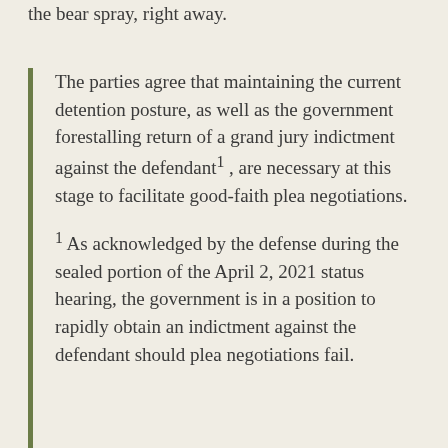the bear spray, right away.
The parties agree that maintaining the current detention posture, as well as the government forestalling return of a grand jury indictment against the defendant1 , are necessary at this stage to facilitate good-faith plea negotiations.
1 As acknowledged by the defense during the sealed portion of the April 2, 2021 status hearing, the government is in a position to rapidly obtain an indictment against the defendant should plea negotiations fail.